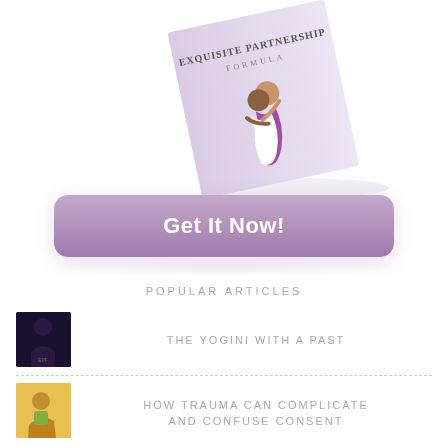[Figure (illustration): Tilted book cover showing 'Exquisite Partnership Formula' with a couple embracing on the cover, lavender/purple background]
Get It Now!
POPULAR ARTICLES
[Figure (photo): Small thumbnail image, dark tones, person silhouette]
THE YOGINI WITH A PAST
[Figure (photo): Small thumbnail image, warm yellow tones, couple]
HOW TRAUMA CAN COMPLICATE AND CONFUSE CONSENT